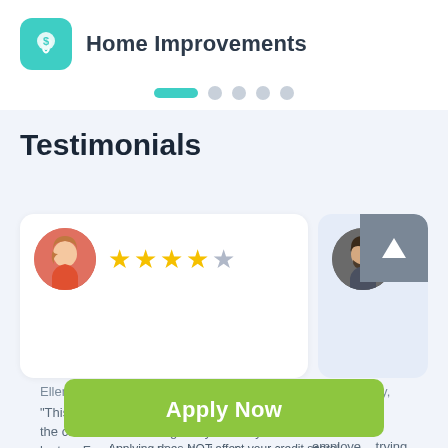Home Improvements
[Figure (infographic): Pagination dots: one active green elongated dot followed by four gray circular dots]
Testimonials
[Figure (infographic): Two testimonial cards side by side. Left card: female avatar, 4.5 star rating, reviewer Ellen of Palm Desert, CA review 7 days ago, quote starting 'This service is really fast. I've got funds on the card without moving away from my laptop. Frankly speaking, the loan's cost hurts the'. Right card: male avatar, partial star rating visible, reviewer Rex of Toney, AL, quote starting 'I am self employed trying to establish a... with you so when th... incidents that ac'. Scroll-up button overlay on top right of right card.]
Ellen of Palm Desert, CA review 7 days ago
"This service is really fast. I've got funds on the card without moving away from my laptop. Frankly speaking, the loan's cost hurts the
Rex of Toney, AL rev... ago
" I am self employed trying to establish a... with you so when th... incidents that ac
Apply Now
Applying does NOT affect your credit score!
No credit check to apply.